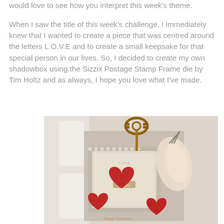would love to see how you interpret this week's theme.
When I saw the title of this week's challenge, I immediately knew that I wanted to create a piece that was centred around the letters L.O.V.E and to create a small keepsake for that special person in our lives. So, I decided to create my own shadowbox using the Sizzix Postage Stamp Frame die by Tim Holtz and as always, I hope you love what I've made.
[Figure (photo): A craft shadowbox featuring a postage stamp frame die, a vintage clock key on top, three red felt hearts, a cream/beige ribbon bow, and a Happy Valentine's card at the bottom, arranged in a decorative display.]